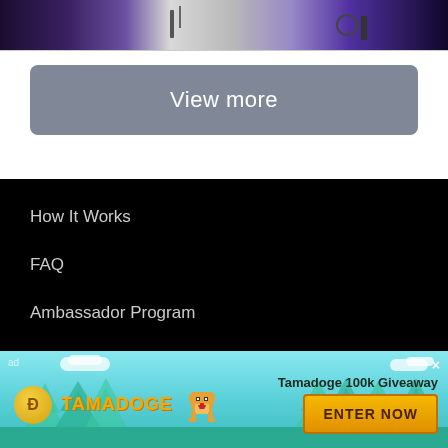[Figure (photo): Partial photo strip showing purple/blue clothing and background with a tripod]
View more
How It Works
FAQ
Ambassador Program
[Figure (infographic): Tamadoge advertisement banner with teal forest background, Tamadoge coin logo, dog mascot, text 'Tamadoge 100k Giveaway' and 'ENTER NOW' button]